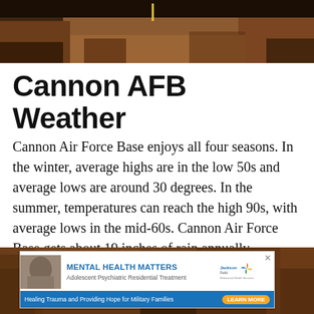[Figure (photo): Top portion of a canyon landscape photo with reddish-brown rock formations and dark sky]
Cannon AFB Weather
Cannon Air Force Base enjoys all four seasons. In the winter, average highs are in the low 50s and average lows are around 30 degrees. In the summer, temperatures can reach the high 90s, with average lows in the mid-60s. Cannon Air Force Base gets about 19 inches of rain annually.
[Figure (photo): Bottom portion of a canyon landscape photo with rocky terrain, with an advertisement banner overlay for Jackson-Feild Mental Health Matters - Adolescent Psychiatric Residential Treatment]